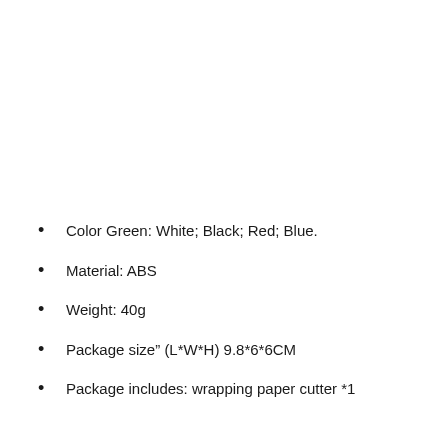Color Green: White; Black; Red; Blue.
Material: ABS
Weight: 40g
Package size" (L*W*H) 9.8*6*6CM
Package includes: wrapping paper cutter *1